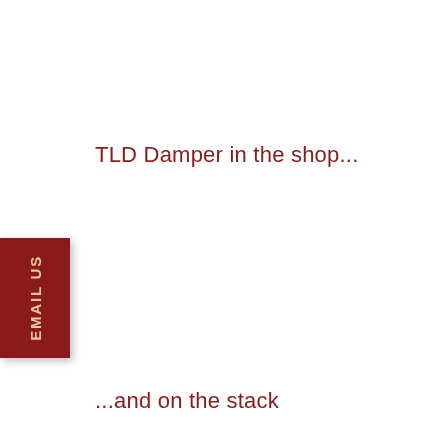TLD Damper in the shop...
EMAIL US
...and on the stack